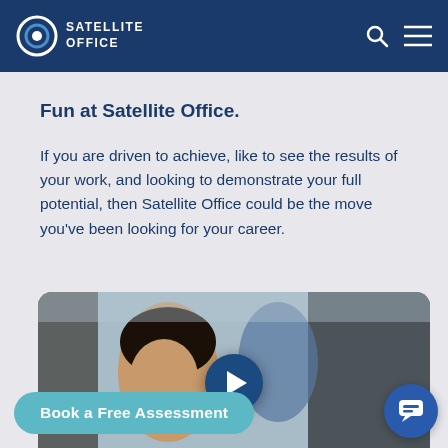SATELLITE OFFICE
Fun at Satellite Office.
If you are driven to achieve, like to see the results of your work, and looking to demonstrate your full potential, then Satellite Office could be the move you've been looking for your career.
[Figure (photo): Video thumbnail showing a young woman drinking from a red cup in a crowd, with a play button overlay in the center]
Book a Free Assessment